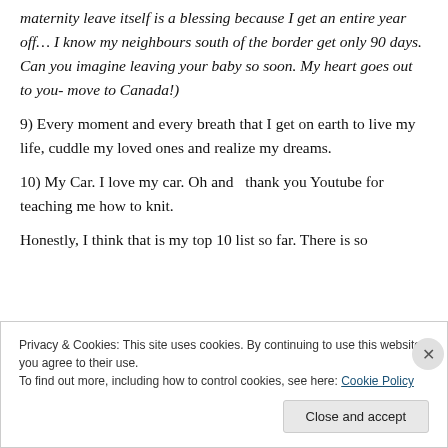maternity leave itself is a blessing because I get an entire year off… I know my neighbours south of the border get only 90 days. Can you imagine leaving your baby so soon. My heart goes out to you- move to Canada!)
9) Every moment and every breath that I get on earth to live my life, cuddle my loved ones and realize my dreams.
10) My Car. I love my car. Oh and  thank you Youtube for teaching me how to knit.
Honestly, I think that is my top 10 list so far. There is so
Privacy & Cookies: This site uses cookies. By continuing to use this website, you agree to their use.
To find out more, including how to control cookies, see here: Cookie Policy
Close and accept